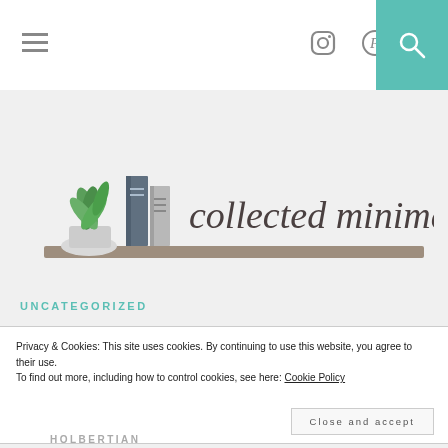≡  [instagram icon]  [pinterest icon]  [search icon]
[Figure (logo): collected minimalist logo with illustrated books and plant on a shelf, cursive text reading 'collected minimalist']
UNCATEGORIZED
Privacy & Cookies: This site uses cookies. By continuing to use this website, you agree to their use.
To find out more, including how to control cookies, see here: Cookie Policy
Close and accept
HOLBERTIAN